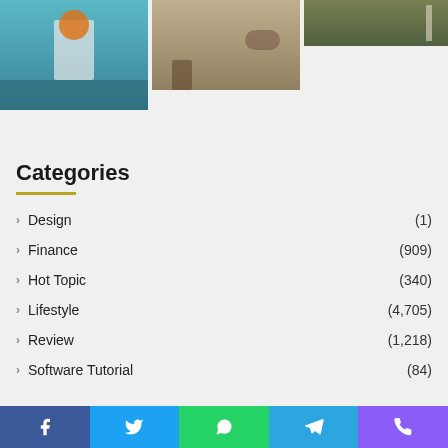[Figure (photo): Person kayaking on water viewed from behind, wearing an orange life vest]
[Figure (photo): Person camping outdoors near equipment and a dog]
[Figure (photo): Outdoor nature scene with grass and a post]
Categories
Design (1)
Finance (909)
Hot Topic (340)
Lifestyle (4,705)
Review (1,218)
Software Tutorial (84)